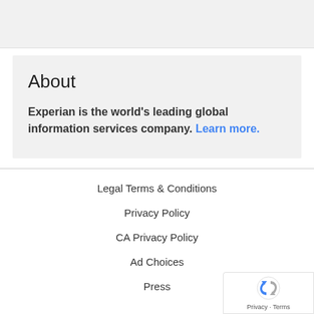About
Experian is the world's leading global information services company. Learn more.
Legal Terms & Conditions
Privacy Policy
CA Privacy Policy
Ad Choices
Press
[Figure (logo): reCAPTCHA badge with Google logo and Privacy - Terms text]